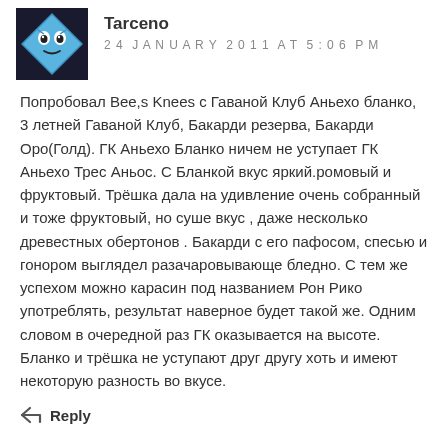[Figure (illustration): User avatar: blue diamond-shaped cartoon character with eyes and a small mouth on a dark blue background]
Tarceno
24 JANUARY 2011 AT 5:06 PM
Попробовал Bee,s Knees с Гаваной Клуб Аньехо бланко, 3 летней Гаваной Клуб, Бакарди резерва, Бакарди Оро(Голд). ГК Аньехо Бланко ничем не уступает ГК Аньехо Трес Аньос. С Бланкой вкус яркий.ромовый и фруктовый. Трёшка дала на удивление очень собранный и тоже фруктовый, но суше вкус , даже несколько древестных обертонов . Бакарди с его пафосом, спесью и гонором выглядел разачаровывающе бледно. С тем же успехом можно карасин под названием Рон Рико употреблять, результат наверное будет такой же. Одним словом в очередной раз ГК оказывается на высоте. Бланко и трёшка не уступают друг другу хоть и имеют некоторую разность во вкусе.
Reply